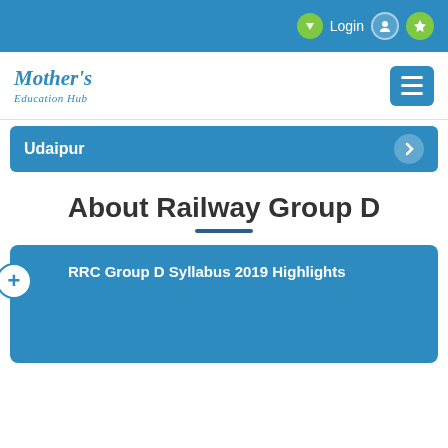Login
[Figure (logo): Mother's Education Hub logo with blue italic serif text]
Udaipur
About Railway Group D
RRC Group D Syllabus 2019 Highlights